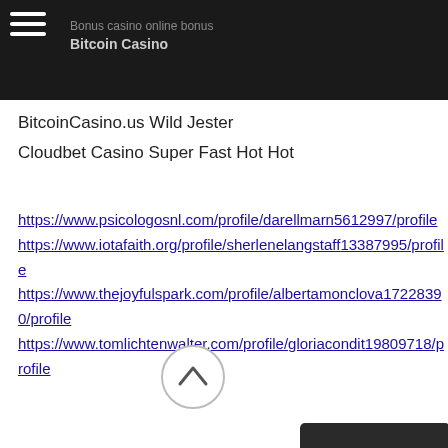BitcoinCasino.us Wild Jester
Cloudbet Casino Super Fast Hot Hot
BitcoinCasino.us Wild Jester
Cloudbet Casino Super Fast Hot Hot
https://www.psicologosnl.com/profile/darellmarn5612997/profile
https://www.iotafaith.org/profile/sherlenelangstaff13387995/profile
https://www.thejoyfulspark.com/profile/albertamonclova17228390/profile
https://www.tomlichtenwalter.com/profile/gloriacondit19809718/profile